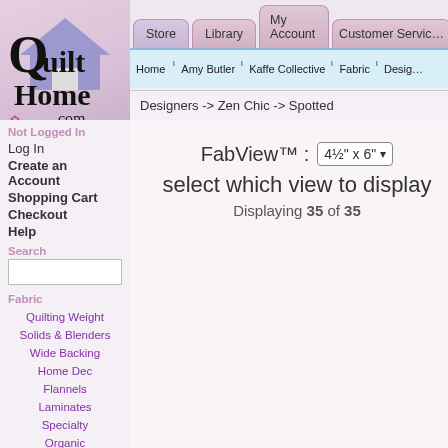[Figure (logo): QuiltHome.com logo with house icon and pink/purple background]
Store | Library | My Account | Customer Service
Home | Amy Butler | Kaffe Collective | Fabric | Designers
Designers -> Zen Chic -> Spotted
Not Logged In
Log In
Create an Account
Shopping Cart
Checkout
Help
Search
Fabric
Quilting Weight
Solids & Blenders
Wide Backing
Home Dec
Flannels
Laminates
Specialty
Organic
By Manufacturer
Close Out
Designers
Tula Pink 129
Amy Butler 120
Zen Chic 84
Kaffe Fassett 59
Valori Wells 52
FabView™ : 4½" x 6"
select which view to display
Displaying 35 of 35